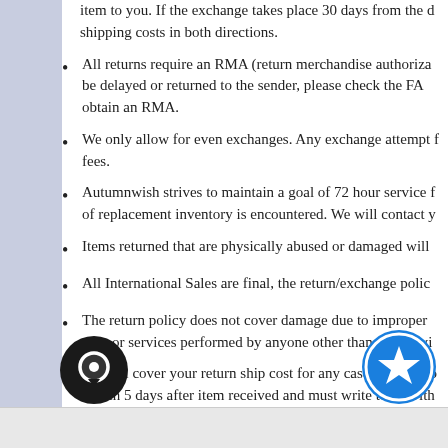item to you. If the exchange takes place 30 days from the d shipping costs in both directions.
All returns require an RMA (return merchandise authoriza be delayed or returned to the sender, please check the FA obtain an RMA.
We only allow for even exchanges. Any exchange attempt f fees.
Autumnwish strives to maintain a goal of 72 hour service f of replacement inventory is encountered. We will contact y
Items returned that are physically abused or damaged will
All International Sales are final, the return/exchange polic
The return policy does not cover damage due to improper you, or services performed by anyone other than Autumwi
We will cover your return ship cost for any cases except yo within 5 days after item received and must write to us with al, does not apply to this rule.
[Figure (illustration): Dark circular chat/speech bubble icon in bottom left corner]
[Figure (illustration): Blue circular star/favorite icon in bottom right corner]